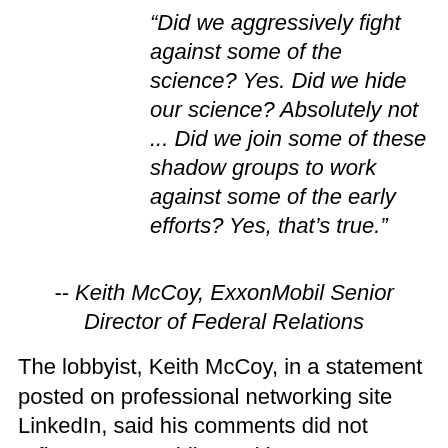“Did we aggressively fight against some of the science? Yes. Did we hide our science? Absolutely not ... Did we join some of these shadow groups to work against some of the early efforts? Yes, that’s true.”
-- Keith McCoy, ExxonMobil Senior Director of Federal Relations
The lobbyist, Keith McCoy, in a statement posted on professional networking site LinkedIn, said his comments did not reflect ExxonMobil’s positions on sustainability, and in some instances were taken out of context. The